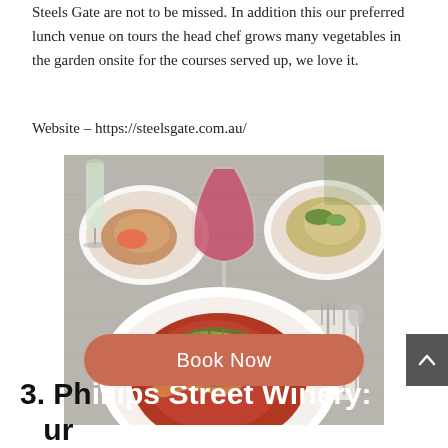Steels Gate are not to be missed. In addition this our preferred lunch venue on tours the head chef grows many vegetables in the garden onsite for the courses served up, we love it.
Website – https://steelsgate.com.au/
[Figure (photo): Restaurant table setting with a glass of red wine, plates of food including a pasta dish with greens and cheese, and cutlery on a light grey wooden table.]
3. Ph... ...our Rating: 9.5/10